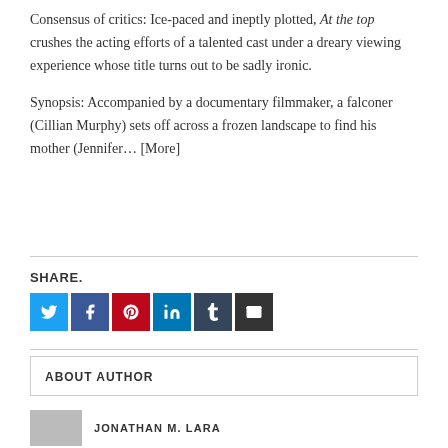Consensus of critics: Ice-paced and ineptly plotted, At the top crushes the acting efforts of a talented cast under a dreary viewing experience whose title turns out to be sadly ironic.
Synopsis: Accompanied by a documentary filmmaker, a falconer (Cillian Murphy) sets off across a frozen landscape to find his mother (Jennifer… [More]
SHARE.
[Figure (other): Social share buttons: Twitter (blue), Facebook (dark blue), Pinterest (red), LinkedIn (blue), Tumblr (dark navy), Email (dark gray)]
ABOUT AUTHOR
JONATHAN M. LARA